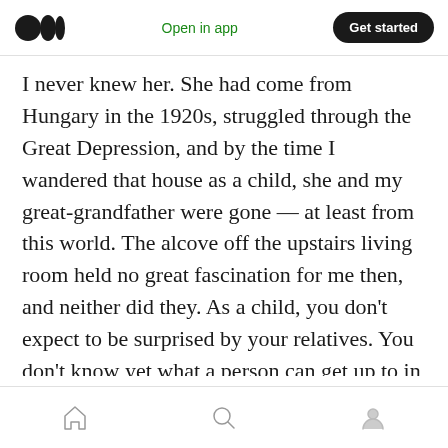[Figure (logo): Medium app logo — two overlapping black circles]
Open in app
Get started
I never knew her. She had come from Hungary in the 1920s, struggled through the Great Depression, and by the time I wandered that house as a child, she and my great-grandfather were gone — at least from this world. The alcove off the upstairs living room held no great fascination for me then, and neither did they. As a child, you don't expect to be surprised by your relatives. You don't know yet what a person can get up to in life; it's only later, when you've experienced something of it, that you wonder if
[Figure (screenshot): Bottom navigation bar with home, search, and profile icons]